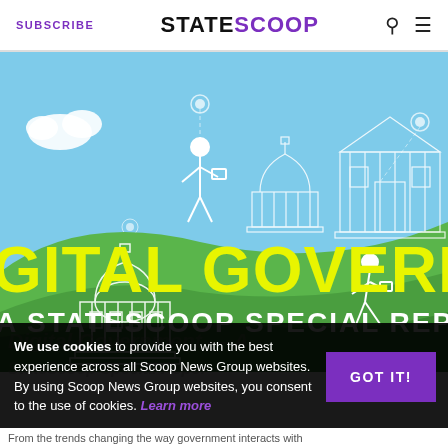SUBSCRIBE  STATESCOOP  [search] [menu]
[Figure (illustration): Digital Government – A StateScoop Special Report hero banner illustration showing green hills, government buildings (capitol dome, courthouse), a person figure with device, clouds, on a blue sky background. Large yellow text reads 'GITAL GOVERNME' and white text reads 'A STATESCOOP SPECIAL REPO' (partially cropped).]
We use cookies to provide you with the best experience across all Scoop News Group websites. By using Scoop News Group websites, you consent to the use of cookies. Learn more
GOT IT!
From the trends changing the way government interacts with